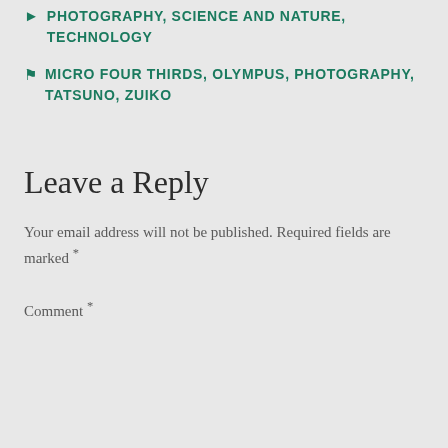PHOTOGRAPHY, SCIENCE AND NATURE, TECHNOLOGY
MICRO FOUR THIRDS, OLYMPUS, PHOTOGRAPHY, TATSUNO, ZUIKO
Leave a Reply
Your email address will not be published. Required fields are marked *
Comment *